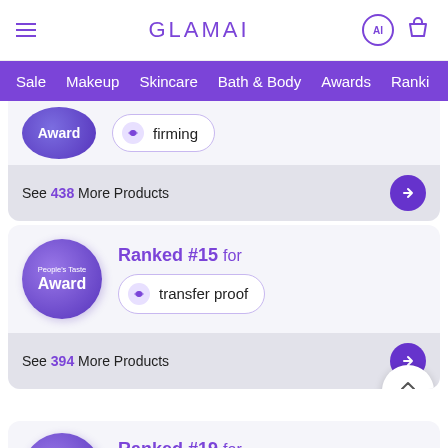GLAMAI
Sale  Makeup  Skincare  Bath & Body  Awards  Rankings
Award  firming
See 438 More Products
Ranked #15 for transfer proof
See 394 More Products
Ranked #19 for long lasting